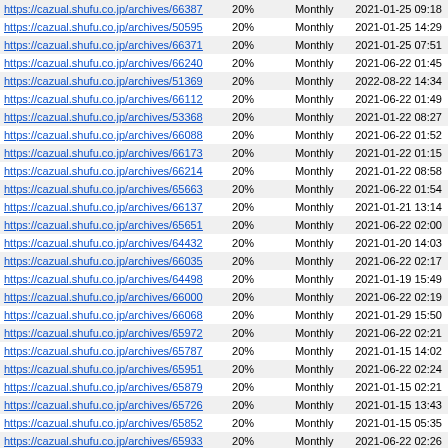| URL | Priority | Change Freq | Last Modified |
| --- | --- | --- | --- |
| https://cazual.shufu.co.jp/archives/66387 | 20% | Monthly | 2021-01-25 09:18 |
| https://cazual.shufu.co.jp/archives/50595 | 20% | Monthly | 2021-01-25 14:29 |
| https://cazual.shufu.co.jp/archives/66371 | 20% | Monthly | 2021-01-25 07:51 |
| https://cazual.shufu.co.jp/archives/66240 | 20% | Monthly | 2021-06-22 01:45 |
| https://cazual.shufu.co.jp/archives/51369 | 20% | Monthly | 2022-08-22 14:34 |
| https://cazual.shufu.co.jp/archives/66112 | 20% | Monthly | 2021-06-22 01:49 |
| https://cazual.shufu.co.jp/archives/53368 | 20% | Monthly | 2021-01-22 08:27 |
| https://cazual.shufu.co.jp/archives/66088 | 20% | Monthly | 2021-06-22 01:52 |
| https://cazual.shufu.co.jp/archives/66173 | 20% | Monthly | 2021-01-22 01:15 |
| https://cazual.shufu.co.jp/archives/66214 | 20% | Monthly | 2021-01-22 08:58 |
| https://cazual.shufu.co.jp/archives/65663 | 20% | Monthly | 2021-06-22 01:54 |
| https://cazual.shufu.co.jp/archives/66137 | 20% | Monthly | 2021-01-21 13:14 |
| https://cazual.shufu.co.jp/archives/65651 | 20% | Monthly | 2021-06-22 02:00 |
| https://cazual.shufu.co.jp/archives/64432 | 20% | Monthly | 2021-01-20 14:03 |
| https://cazual.shufu.co.jp/archives/66035 | 20% | Monthly | 2021-06-22 02:17 |
| https://cazual.shufu.co.jp/archives/64498 | 20% | Monthly | 2021-01-19 15:49 |
| https://cazual.shufu.co.jp/archives/66000 | 20% | Monthly | 2021-06-22 02:19 |
| https://cazual.shufu.co.jp/archives/66068 | 20% | Monthly | 2021-01-29 15:50 |
| https://cazual.shufu.co.jp/archives/65972 | 20% | Monthly | 2021-06-22 02:21 |
| https://cazual.shufu.co.jp/archives/65787 | 20% | Monthly | 2021-01-15 14:02 |
| https://cazual.shufu.co.jp/archives/65951 | 20% | Monthly | 2021-06-22 02:24 |
| https://cazual.shufu.co.jp/archives/65879 | 20% | Monthly | 2021-01-15 02:21 |
| https://cazual.shufu.co.jp/archives/65726 | 20% | Monthly | 2021-01-15 13:43 |
| https://cazual.shufu.co.jp/archives/65852 | 20% | Monthly | 2021-01-15 05:35 |
| https://cazual.shufu.co.jp/archives/65933 | 20% | Monthly | 2021-06-22 02:26 |
| https://cazual.shufu.co.jp/archives/65854 | 20% | Monthly | 2021-01-18 02:03 |
| https://cazual.shufu.co.jp/archives/65817 | 20% | Monthly | 2021-01-13 08:08 |
| https://cazual.shufu.co.jp/archives/64507 | 20% | Monthly | 2021-01-14 16:49 |